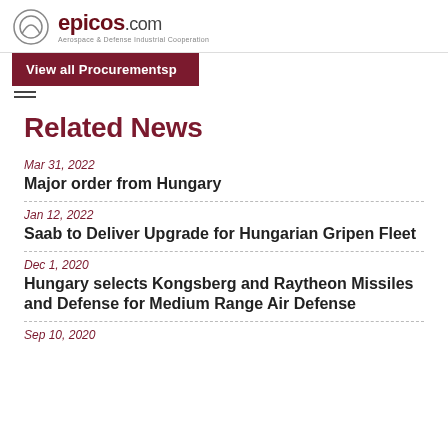epicos.com — Aerospace & Defense Industrial Cooperation
View all Procurementsp
Related News
Mar 31, 2022
Major order from Hungary
Jan 12, 2022
Saab to Deliver Upgrade for Hungarian Gripen Fleet
Dec 1, 2020
Hungary selects Kongsberg and Raytheon Missiles and Defense for Medium Range Air Defense
Sep 10, 2020